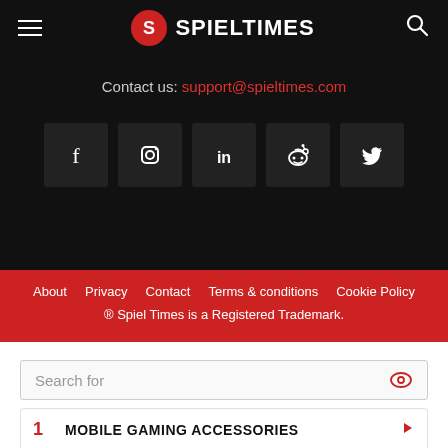SPIELTIMES
Contact us: support@spieltimes.com
[Figure (infographic): Social media icons row: Facebook, Instagram, LinkedIn, Reddit, Twitter]
About   Privacy   Contact   Terms & conditions   Cookie Policy
® Spiel Times is a Registered Trademark.
Search for
1  MOBILE GAMING ACCESSORIES
2  DOWNLOAD PLANET ZOO GAME
Ad | Business Focus